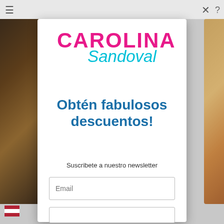[Figure (screenshot): Carolina Sandoval website popup modal with logo, promotional text, and email subscription form]
CAROLINA Sandoval
Obtén fabulosos descuentos!
Suscribete a nuestro newsletter